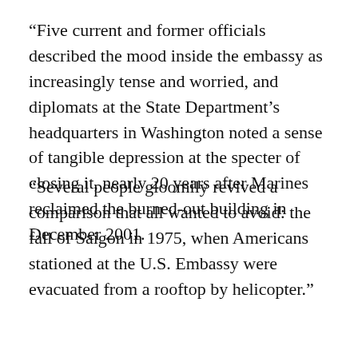“Five current and former officials described the mood inside the embassy as increasingly tense and worried, and diplomats at the State Department’s headquarters in Washington noted a sense of tangible depression at the specter of closing it, nearly 20 years after Marines reclaimed the burned-out building in December 2001.
“Several people gloomily revived a comparison that all wanted to avoid: the fall of Saigon in 1975, when Americans stationed at the U.S. Embassy were evacuated from a rooftop by helicopter.”